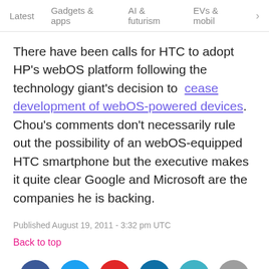Latest   Gadgets & apps   AI & futurism   EVs & mobil  >
There have been calls for HTC to adopt HP's webOS platform following the technology giant's decision to cease development of webOS-powered devices. Chou's comments don't necessarily rule out the possibility of an webOS-equipped HTC smartphone but the executive makes it quite clear Google and Microsoft are the companies he is backing.
Published August 19, 2011 - 3:32 pm UTC
Back to top
[Figure (infographic): Social sharing icons: Facebook, Twitter, Flipboard, LinkedIn, Telegram, Email]